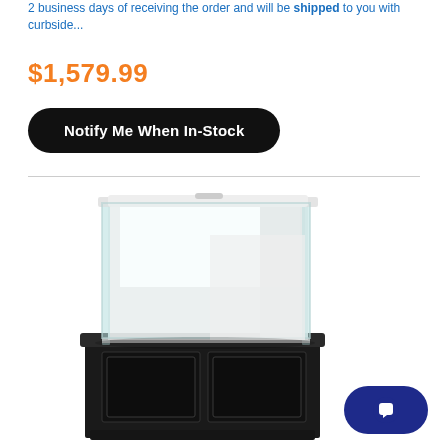2 business days of receiving the order and will be shipped to you with curbside...
$1,579.99
Notify Me When In-Stock
[Figure (photo): Product photo of a glass aquarium tank sitting on a black wooden cabinet/stand with two paneled doors. The tank is transparent with white interior panels visible inside.]